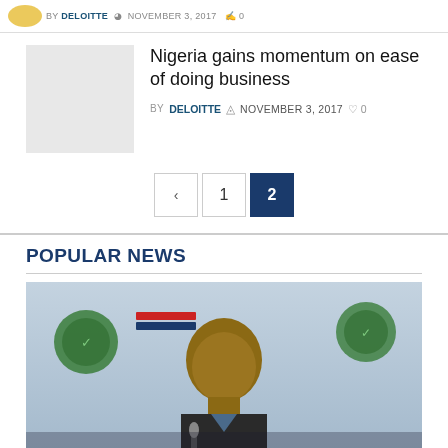BY DELOITTE  NOVEMBER 3, 2017  0
[Figure (photo): Article thumbnail placeholder - light gray square]
Nigeria gains momentum on ease of doing business
BY DELOITTE  NOVEMBER 3, 2017  0
< 1 2
POPULAR NEWS
[Figure (photo): Man in suit speaking at a podium with microphone, green logo banners in background]